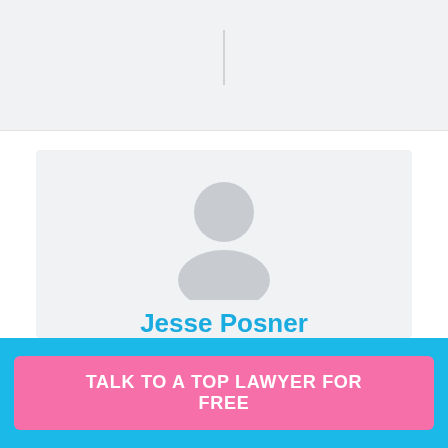[Figure (illustration): Gray placeholder avatar silhouette showing head and shoulders]
Jesse Posner
Licensed to practice law in both California and New York, Jesse Posner works out of his office in San Francisco representing technology start-ups in a wide variety of legal matters. Founder of JPosner Law, Posner drafts and negotiates agreements, structures corporate transactions, advises on corporate governance issues, and develops
TALK TO A TOP LAWYER FOR FREE